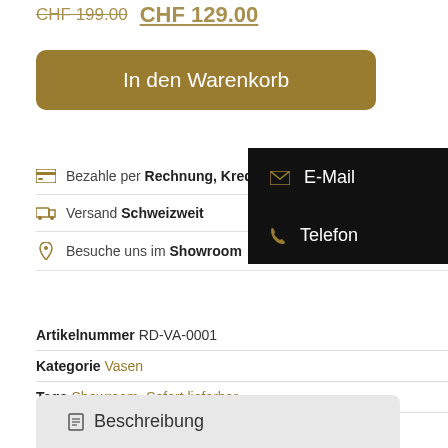CHF 199.00  CHF 129.00
In den Warenkorb
Bezahle per Rechnung, Kreditkarte, Twint oder P...
Versand Schweizweit
Besuche uns im Showroom
E-Mail
Telefon
Artikelnummer RD-VA-0001
Kategorie Vasen
Tags Showroom, Sofort lieferbar
Beschreibung